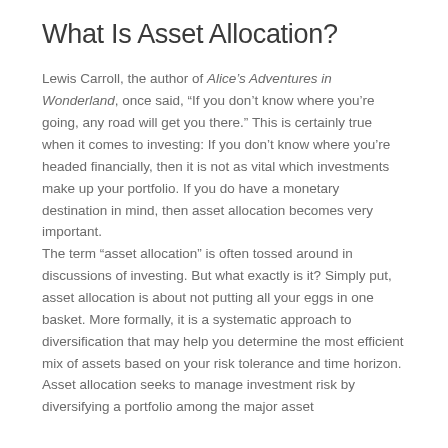What Is Asset Allocation?
Lewis Carroll, the author of Alice's Adventures in Wonderland, once said, “If you don’t know where you’re going, any road will get you there.” This is certainly true when it comes to investing: If you don’t know where you’re headed financially, then it is not as vital which investments make up your portfolio. If you do have a monetary destination in mind, then asset allocation becomes very important.
The term “asset allocation” is often tossed around in discussions of investing. But what exactly is it? Simply put, asset allocation is about not putting all your eggs in one basket. More formally, it is a systematic approach to diversification that may help you determine the most efficient mix of assets based on your risk tolerance and time horizon.
Asset allocation seeks to manage investment risk by diversifying a portfolio among the major asset